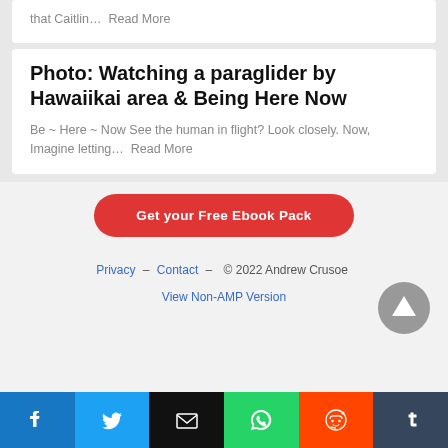that Caitlin…  Read More
Photo: Watching a paraglider by Hawaiikai area & Being Here Now
Be ~ Here ~ Now See the human in flight? Look closely. Now, Imagine letting…  Read More
Get your Free Ebook Pack
Privacy  –  Contact  –  © 2022 Andrew Crusoe
View Non-AMP Version